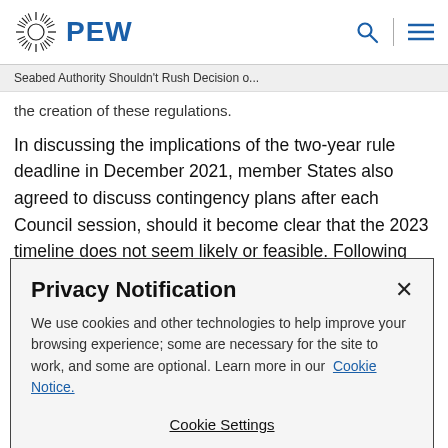PEW
Seabed Authority Shouldn't Rush Decision o...
the creation of these regulations.
In discussing the implications of the two-year rule deadline in December 2021, member States also agreed to discuss contingency plans after each Council session, should it become clear that the 2023 timeline does not seem likely or feasible. Following the March meeting, it is clear that the
Privacy Notification
We use cookies and other technologies to help improve your browsing experience; some are necessary for the site to work, and some are optional. Learn more in our Cookie Notice.
Cookie Settings